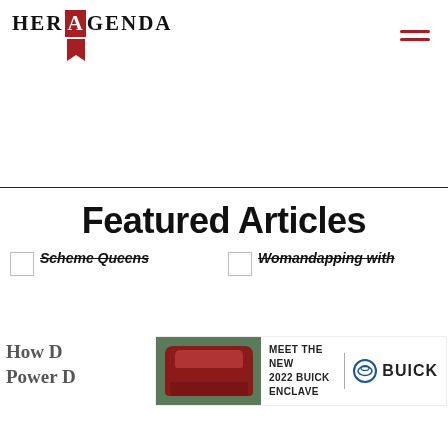HER AGENDA
Featured Articles
[Figure (screenshot): Broken image placeholder with text 'Scheme Queens']
[Figure (screenshot): Broken image placeholder with text 'Womandapping with']
How D... esome Power D... ings
[Figure (photo): Advertisement banner: MEET THE NEW 2022 BUICK ENCLAVE | BUICK logo, with red car image on green background]